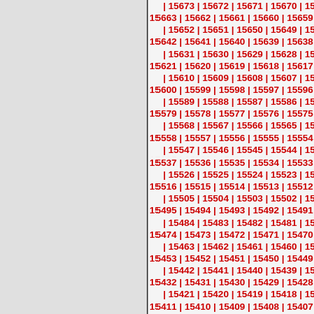15673 | 15672 | 15671 | 15670 | 15669 | 15663 | 15662 | 15661 | 15660 | 15659 | 1565 | 15652 | 15651 | 15650 | 15649 | 15648 | 15642 | 15641 | 15640 | 15639 | 15638 | 1563 | 15631 | 15630 | 15629 | 15628 | 15627 | 15621 | 15620 | 15619 | 15618 | 15617 | 1563 | 15610 | 15609 | 15608 | 15607 | 15606 | 15600 | 15599 | 15598 | 15597 | 15596 | 1559 | 15589 | 15588 | 15587 | 15586 | 15585 | 15579 | 15578 | 15577 | 15576 | 15575 | 1557 | 15568 | 15567 | 15566 | 15565 | 15564 | 15558 | 15557 | 15556 | 15555 | 15554 | 1555 | 15547 | 15546 | 15545 | 15544 | 15543 | 15537 | 15536 | 15535 | 15534 | 15533 | 1553 | 15526 | 15525 | 15524 | 15523 | 15522 | 15516 | 15515 | 15514 | 15513 | 15512 | 1551 | 15505 | 15504 | 15503 | 15502 | 15501 | 15495 | 15494 | 15493 | 15492 | 15491 | 1549 | 15484 | 15483 | 15482 | 15481 | 15480 | 15474 | 15473 | 15472 | 15471 | 15470 | 1546 | 15463 | 15462 | 15461 | 15460 | 15459 | 15453 | 15452 | 15451 | 15450 | 15449 | 1544 | 15442 | 15441 | 15440 | 15439 | 15438 | 15432 | 15431 | 15430 | 15429 | 15428 | 1542 | 15421 | 15420 | 15419 | 15418 | 15417 | 15411 | 15410 | 15409 | 15408 | 15407 | 1540 | 15400 | 15399 | 15398 | 15397 | 15396 | 15390 | 15389 | 15388 | 15387 | 15386 | 1538 | 15379 | 15378 | 15377 | 15376 | 15375 | 15369 | 15368 | 15367 | 15366 | 15365 | 1536 | 15358 | 15357 | 15356 | 15355 | 15354 | 15348 | 15347 | 15346 | 15345 | 15344 | 1534